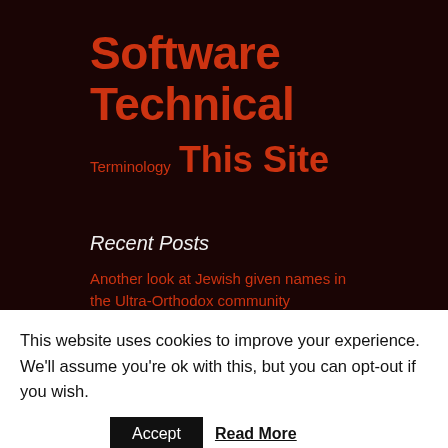Software Technical
Terminology  This Site
Recent Posts
Another look at Jewish given names in the Ultra-Orthodox community
An Ultra-Orthdox view of
This website uses cookies to improve your experience. We'll assume you're ok with this, but you can opt-out if you wish.
Accept  Read More